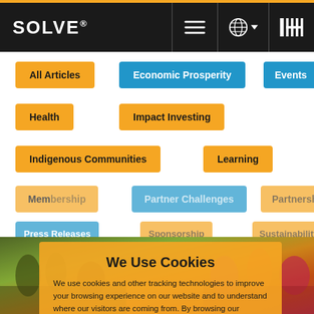SOLVE® — MIT — navigation bar with hamburger menu, globe/language selector, MIT logo
All Articles
Economic Prosperity
Events
Health
Impact Investing
Indigenous Communities
Learning
Membership
Partner Challenges
Partnerships
Press Releases
Sponsorship
Sustainability
We Use Cookies
We use cookies and other tracking technologies to improve your browsing experience on our website and to understand where our visitors are coming from. By browsing our website, you consent to our use of cookies and other tracking technologies.
ACCEPT
REJECT
[Figure (photo): Photo strip at bottom showing people in colorful attire, partially obscured by cookie consent overlay]